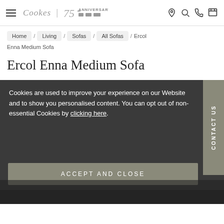Cookes | 75th Anniversary
Home / Living / Sofas / All Sofas / Ercol Enna Medium Sofa
Ercol Enna Medium Sofa
Cookies are used to improve your experience on our Website and to show you personalised content. You can opt out of non-essential Cookies by clicking here.
ACCEPT AND CLOSE